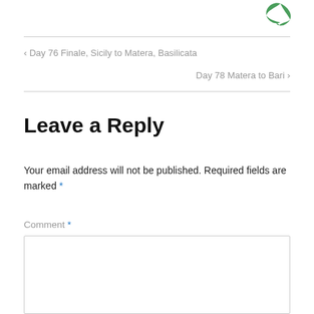[Figure (logo): Green leaf/plant logo in upper right corner]
‹ Day 76 Finale, Sicily to Matera, Basilicata
Day 78 Matera to Bari ›
Leave a Reply
Your email address will not be published. Required fields are marked *
Comment *